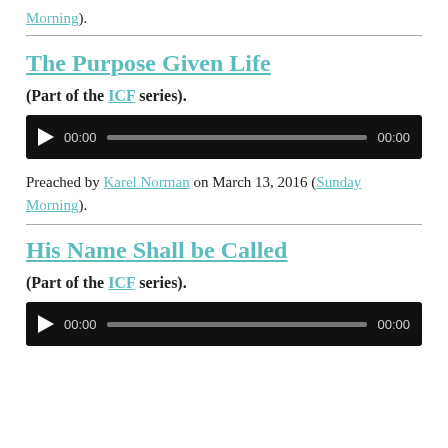Morning).
The Purpose Given Life
(Part of the ICF series).
[Figure (other): Audio player with play button, time display 00:00, progress bar, and end time 00:00]
Preached by Karel Norman on March 13, 2016 (Sunday Morning).
His Name Shall be Called
(Part of the ICF series).
[Figure (other): Audio player (partially visible at bottom)]